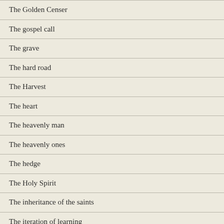The Golden Censer
The gospel call
The grave
The hard road
The Harvest
The heart
The heavenly man
The heavenly ones
The hedge
The Holy Spirit
The inheritance of the saints
The iteration of learning